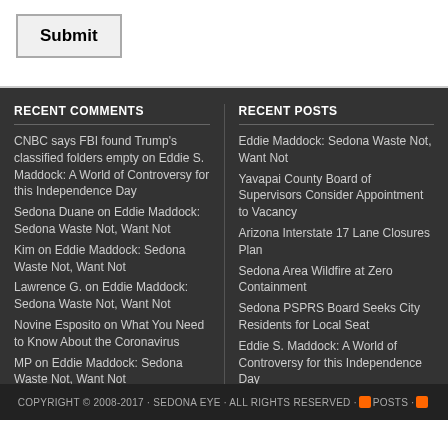Submit
RECENT COMMENTS
CNBC says FBI found Trump's classified folders empty on Eddie S. Maddock: A World of Controversy for this Independence Day
Sedona Duane on Eddie Maddock: Sedona Waste Not, Want Not
Kim on Eddie Maddock: Sedona Waste Not, Want Not
Lawrence G. on Eddie Maddock: Sedona Waste Not, Want Not
Novine Esposito on What You Need to Know About the Coronavirus
MP on Eddie Maddock: Sedona Waste Not, Want Not
Tolliver on What You Need to Know About the Coronavirus
RECENT POSTS
Eddie Maddock: Sedona Waste Not, Want Not
Yavapai County Board of Supervisors Consider Appointment to Vacancy
Arizona Interstate 17 Lane Closures Plan
Sedona Area Wildfire at Zero Containment
Sedona PSPRS Board Seeks City Residents for Local Seat
Eddie S. Maddock: A World of Controversy for this Independence Day
Eddie Maddock: A Most Unusual City Council Meeting
Liberate Ukraine
Hilton Job Fair April 22 Wants You
Tunnel Fire GO Order Evacuations In Effect
COPYRIGHT © 2008-2017 · SEDONA EYE · ALL RIGHTS RESERVED · POSTS ·